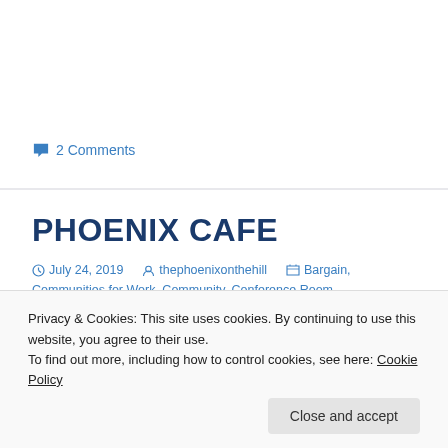2 Comments
PHOENIX CAFE
July 24, 2019   thephoenixonthehill   Bargain, Communities for Work, Community, Conference Room
Cafe, Phoenix Centre, Swansea, townhill
Privacy & Cookies: This site uses cookies. By continuing to use this website, you agree to their use. To find out more, including how to control cookies, see here: Cookie Policy
Close and accept